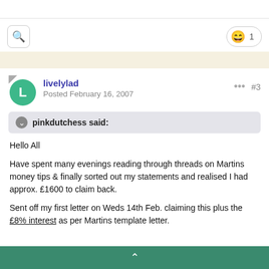[Figure (screenshot): Forum post page with toolbar containing search icon and reaction button showing smiley emoji with count 1]
livelylad
Posted February 16, 2007
#3
pinkdutchess said:
Hello All

Have spent many evenings reading through threads on Martins money tips & finally sorted out my statements and realised I had approx. £1600 to claim back.

Sent off my first letter on Weds 14th Feb. claiming this plus the £8% interest as per Martins template letter.